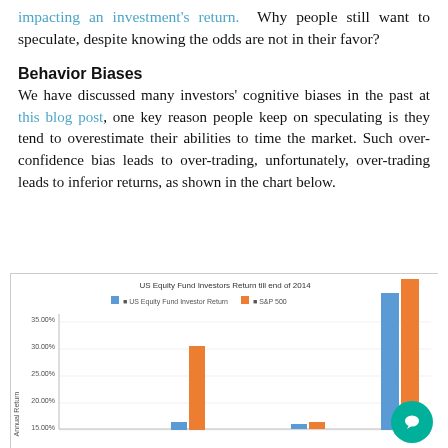impacting an investment's return. Why people still want to speculate, despite knowing the odds are not in their favor?
Behavior Biases
We have discussed many investors' cognitive biases in the past at this blog post, one key reason people keep on speculating is they tend to overestimate their abilities to time the market. Such over-confidence bias leads to over-trading, unfortunately, over-trading leads to inferior returns, as shown in the chart below.
[Figure (grouped-bar-chart): US Equity Fund Investors Return till end of 2014]